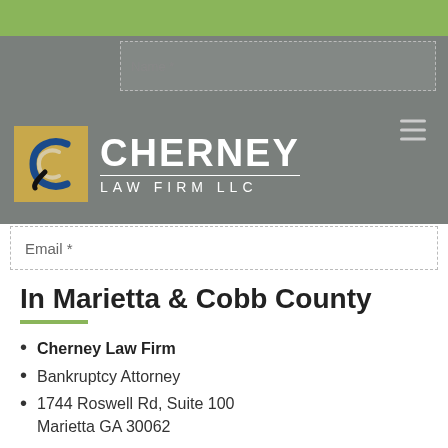[Figure (logo): Cherney Law Firm LLC logo with stylized C letter in gold/yellow box and white text on grey background]
Name *
Email *
In Marietta & Cobb County
Cherney Law Firm
Bankruptcy Attorney
1744 Roswell Rd, Suite 100 Marietta GA 30062
(770) 485-4141
mcherney@cherneylawfirm.com